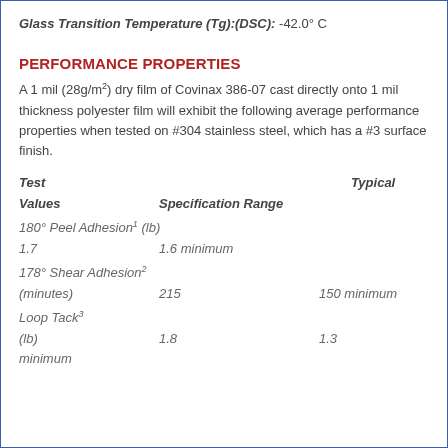Glass Transition Temperature (Tg):(DSC): -42.0° C
PERFORMANCE PROPERTIES
A 1 mil (28g/m²) dry film of Covinax 386-07 cast directly onto 1 mil thickness polyester film will exhibit the following average performance properties when tested on #304 stainless steel, which has a #3 surface finish.
| Test | Typical Values | Specification Range |
| --- | --- | --- |
| 180° Peel Adhesion¹ (lb) | 1.7 | 1.6 minimum |
| 178° Shear Adhesion² (minutes) | 215 | 150 minimum |
| Loop Tack³ (lb) | 1.8 | 1.3 minimum |